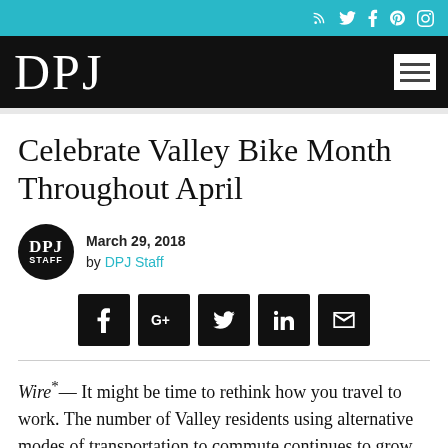DPJ — social icons header bar
Celebrate Valley Bike Month Throughout April
March 29, 2018 by DPJ Staff
[Figure (infographic): Social share buttons: Facebook, Google+, Twitter, LinkedIn, Email]
Wire* — It might be time to rethink how you travel to work. The number of Valley residents using alternative modes of transportation to commute continues to grow.